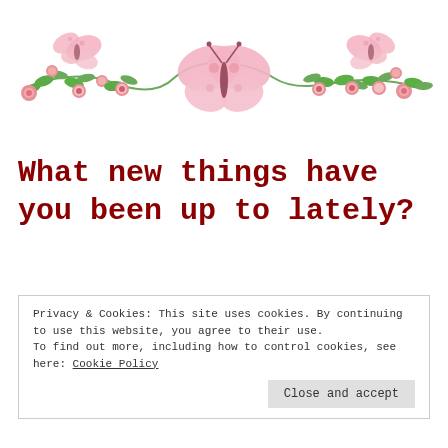[Figure (illustration): Decorative floral banner with pink roses, green leaves and a large pink butterfly in the center, arranged in a horizontal garland]
What new things have you been up to lately?
Privacy & Cookies: This site uses cookies. By continuing to use this website, you agree to their use.
To find out more, including how to control cookies, see here: Cookie Policy

Close and accept